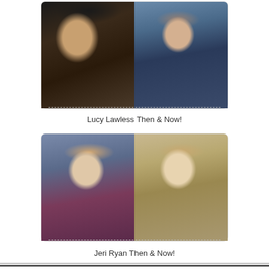[Figure (photo): Two side-by-side photos of Lucy Lawless: left photo shows her then in dark punk/warrior costume with wild hair; right photo shows her now in a navy blue outfit with short styled hair]
Lucy Lawless Then & Now!
[Figure (photo): Two side-by-side photos of Jeri Ryan: left photo shows her then in Star Trek Borg-enhanced uniform with silver facial appliances; right photo shows her now at Comic-Con in white outfit with blonde hair]
Jeri Ryan Then & Now!